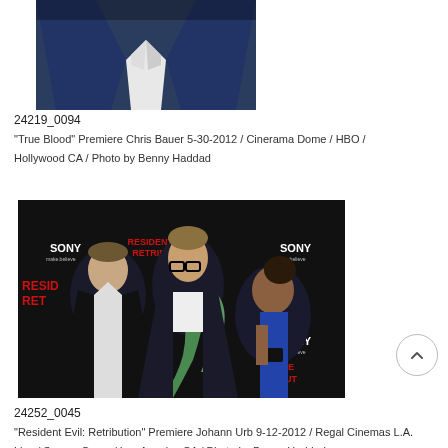[Figure (photo): Partial photo of a person in a navy blue suit with white shirt, cropped at torso level]
24219_0094
"True Blood" Premiere Chris Bauer 5-30-2012 / Cinerama Dome / HBO / Hollywood CA / Photo by Benny Haddad
[Figure (photo): Three people posing at the Resident Evil: Retribution premiere — a man in dark jacket with open shirt, a tall man with glasses and green scarf, and a woman in blue dress, against a Sony/Resident Evil branded backdrop]
24252_0045
"Resident Evil: Retribution" Premiere Johann Urb 9-12-2012 / Regal Cinemas L.A. Live / Screen Gems / Los Angeles CA / Photo by Benny Haddad